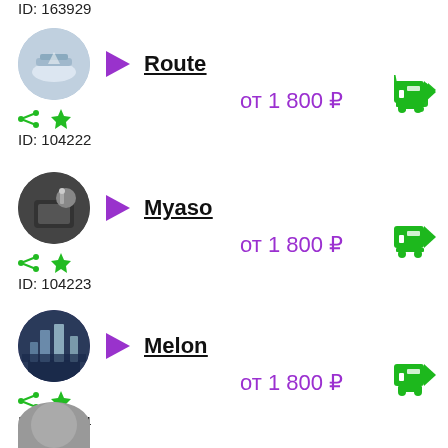ID: 103929
[Figure (illustration): Circular avatar with airplane/airport image]
Route
от 1 800 ₽
ID: 104222
[Figure (illustration): Circular avatar with person at desk/watch image]
Myaso
от 1 800 ₽
ID: 104223
[Figure (illustration): Circular avatar with city/skyscraper image]
Melon
от 1 800 ₽
ID: 104224